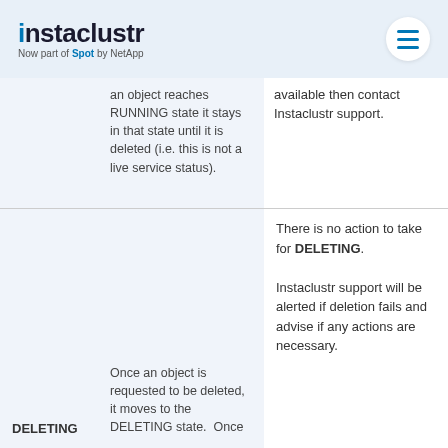instaclustr - Now part of Spot by NetApp
| State | Description | Action |
| --- | --- | --- |
|  | an object reaches RUNNING state it stays in that state until it is deleted (i.e. this is not a live service status). | available then contact Instaclustr support. |
| DELETING | Once an object is requested to be deleted, it moves to the DELETING state. Once... | There is no action to take for DELETING.

Instaclustr support will be alerted if deletion fails and advise if any actions are necessary. |